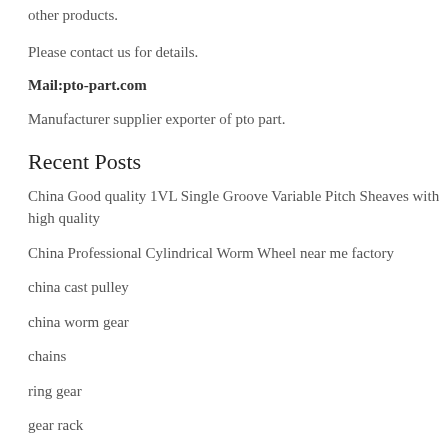other products.
Please contact us for details.
Mail:pto-part.com
Manufacturer supplier exporter of pto part.
Recent Posts
China Good quality 1VL Single Groove Variable Pitch Sheaves with high quality
China Professional Cylindrical Worm Wheel near me factory
china cast pulley
china worm gear
chains
ring gear
gear rack